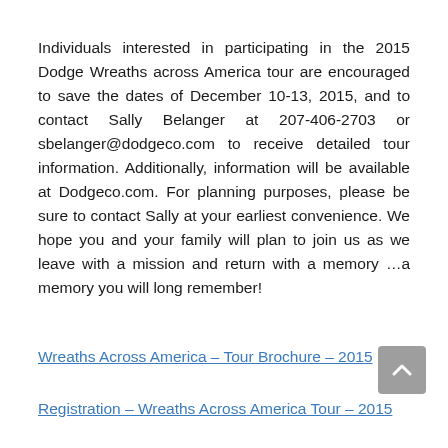Individuals interested in participating in the 2015 Dodge Wreaths across America tour are encouraged to save the dates of December 10-13, 2015, and to contact Sally Belanger at 207-406-2703 or sbelanger@dodgeco.com to receive detailed tour information. Additionally, information will be available at Dodgeco.com. For planning purposes, please be sure to contact Sally at your earliest convenience. We hope you and your family will plan to join us as we leave with a mission and return with a memory …a memory you will long remember!
Wreaths Across America – Tour Brochure – 2015
Registration – Wreaths Across America Tour – 2015